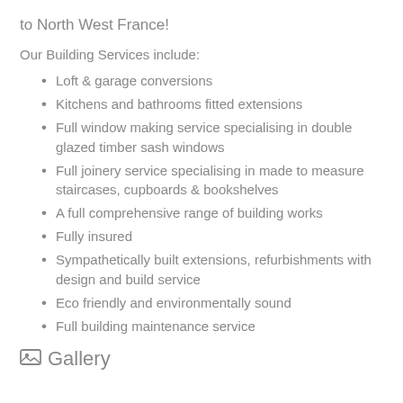to North West France!
Our Building Services include:
Loft & garage conversions
Kitchens and bathrooms fitted extensions
Full window making service specialising in double glazed timber sash windows
Full joinery service specialising in made to measure staircases, cupboards & bookshelves
A full comprehensive range of building works
Fully insured
Sympathetically built extensions, refurbishments with design and build service
Eco friendly and environmentally sound
Full building maintenance service
Gallery